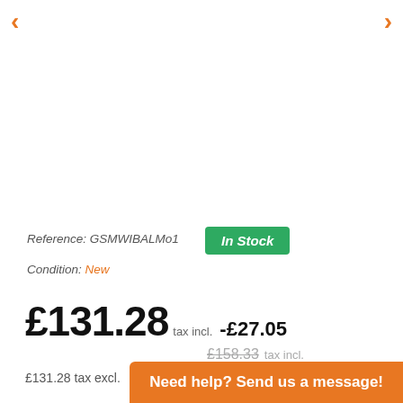< (left arrow navigation)
> (right arrow navigation)
Reference: GSMWIBALMo1
In Stock
Condition: New
£131.28 tax incl. -£27.05
£158.33 tax incl.
£131.28 tax excl.
Need help? Send us a message!